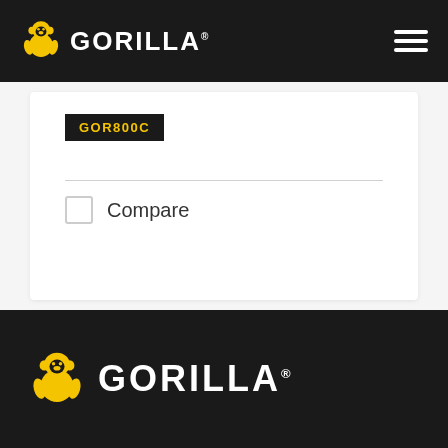GORILLA® — navigation bar with hamburger menu
GOR800C
Compare
[Figure (logo): Gorilla brand logo in footer — yellow gorilla icon with white GORILLA® wordmark on dark background]